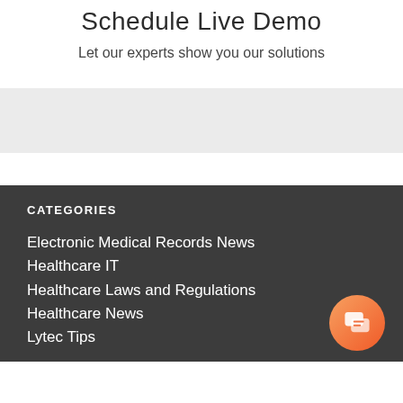Schedule Live Demo
Let our experts show you our solutions
CATEGORIES
Electronic Medical Records News
Healthcare IT
Healthcare Laws and Regulations
Healthcare News
Lytec Tips